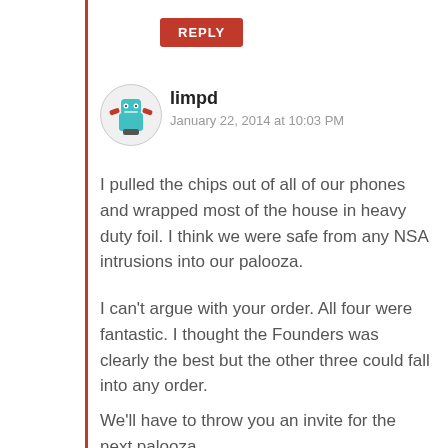REPLY
[Figure (illustration): Round avatar icon showing a cartoon robot/alien character with teal body and red arms on white background]
limpd
January 22, 2014 at 10:03 PM
I pulled the chips out of all of our phones and wrapped most of the house in heavy duty foil. I think we were safe from any NSA intrusions into our palooza.
I can't argue with your order. All four were fantastic. I thought the Founders was clearly the best but the other three could fall into any order.
We'll have to throw you an invite for the next palooza.